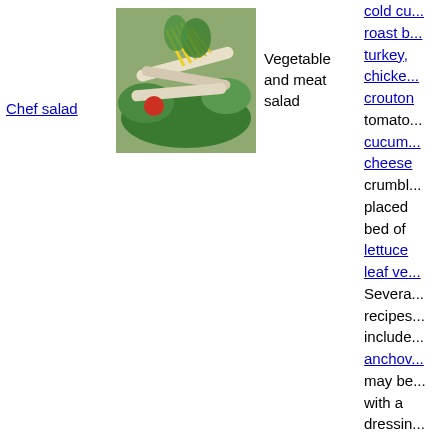Chef salad
[Figure (photo): Photo of a chef salad with rolled meats, shredded cheese, and leafy greens]
Vegetable and meat salad
cold cuts, roast beef, turkey, chicken, croutons, tomatoes, cucumbers, cheese crumbles placed on a bed of lettuce or leaf vegetables. Several recipes also include anchovies, may be served with a variety of dressings. Any salad containing meat as a main ingredient. Other c...
Chicken
[Figure (photo): Photo of a chicken salad dish]
Worldwide
Meat salad i...